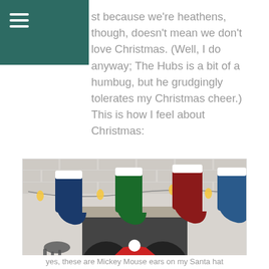≡ (navigation menu icon)
st because we're heathens, though, doesn't mean we don't love Christmas. (Well, I do anyway; The Hubs is a bit of a humbug, but he grudgingly tolerates my Christmas cheer.) This is how I feel about Christmas:
[Figure (photo): Person wearing a Mickey Mouse Santa hat, making an excited expression, standing in front of a fireplace decorated with Christmas stockings and lights.]
yes, these are Mickey Mouse ears on my Santa hat